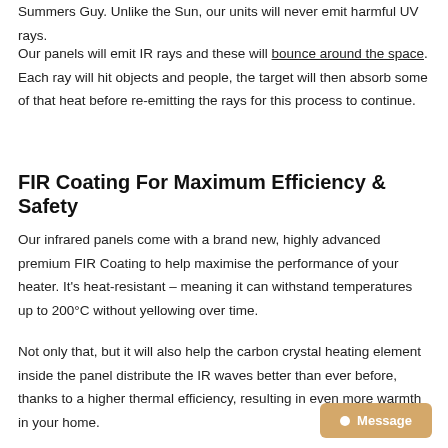Summers Guy. Unlike the Sun, our units will never emit harmful UV rays.
Our panels will emit IR rays and these will bounce around the space. Each ray will hit objects and people, the target will then absorb some of that heat before re-emitting the rays for this process to continue.
FIR Coating For Maximum Efficiency & Safety
Our infrared panels come with a brand new, highly advanced premium FIR Coating to help maximise the performance of your heater. It's heat-resistant – meaning it can withstand temperatures up to 200°C without yellowing over time.
Not only that, but it will also help the carbon crystal heating element inside the panel distribute the IR waves better than ever before, thanks to a higher thermal efficiency, resulting in even more warmth in your home.